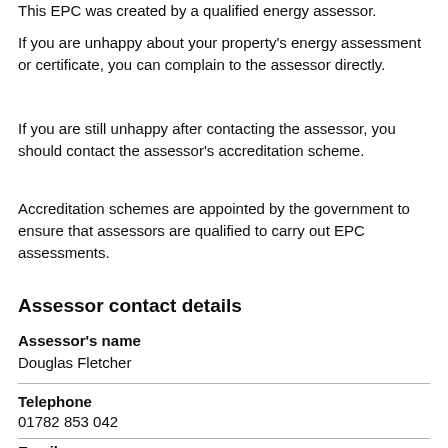This EPC was created by a qualified energy assessor.
If you are unhappy about your property's energy assessment or certificate, you can complain to the assessor directly.
If you are still unhappy after contacting the assessor, you should contact the assessor's accreditation scheme.
Accreditation schemes are appointed by the government to ensure that assessors are qualified to carry out EPC assessments.
Assessor contact details
Assessor's name
Douglas Fletcher
Telephone
01782 853 042
Email